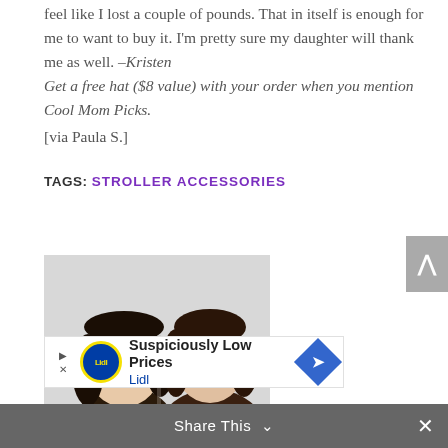feel like I lost a couple of pounds. That in itself is enough for me to want to buy it. I'm pretty sure my daughter will thank me as well. –Kristen
Get a free hat ($8 value) with your order when you mention Cool Mom Picks.
[via Paula S.]
TAGS: STROLLER ACCESSORIES
[Figure (photo): Photo of two women smiling, both with dark brown hair, against a light background.]
[Figure (screenshot): Advertisement banner: Lidl logo with text 'Suspiciously Low Prices' and 'Lidl', with a blue diamond arrow icon.]
Share This